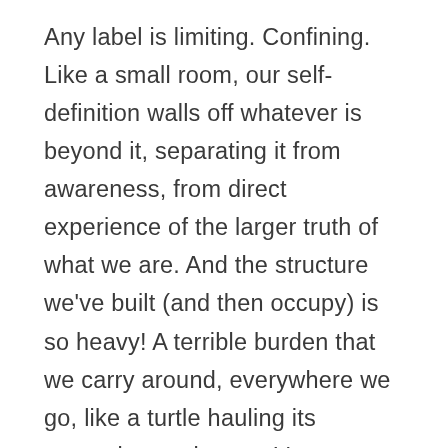Any label is limiting. Confining. Like a small room, our self-definition walls off whatever is beyond it, separating it from awareness, from direct experience of the larger truth of what we are. And the structure we've built (and then occupy) is so heavy! A terrible burden that we carry around, everywhere we go, like a turtle hauling its protective enclosure. It's a way to show others who we are. A way to appear real, substantial, a way to matter. To relate to others, or to distinguish ourselves from them (all of